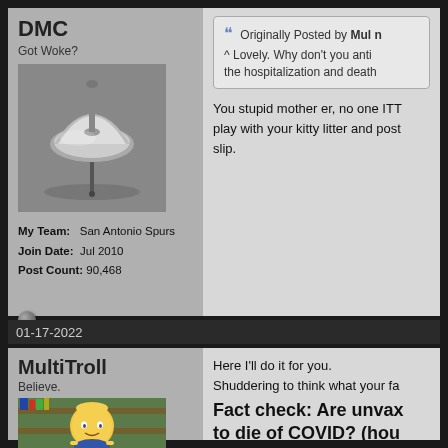DMC
Got Woke?
[Figure (photo): Black and white photo of a spinning top]
My Team: San Antonio Spurs
Join Date: Jul 2010
Post Count: 90,468
Originally Posted by Mul n
^ Lovely. Why don't you anti the hospitalization and death
You stupid mother er, no one ITT play with your kitty litter and post slip.
01-17-2022
MultiTroll
Believe.
[Figure (screenshot): Cartoon image of Ralph Wiggum from The Simpsons]
Here I'll do it for you.
Shuddering to think what your fa
Fact check: Are unvax to die of COVID? (hou